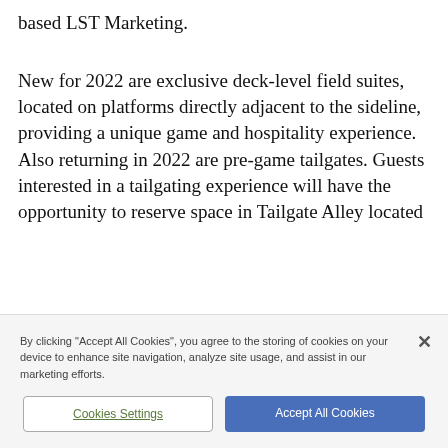based LST Marketing.
New for 2022 are exclusive deck-level field suites, located on platforms directly adjacent to the sideline, providing a unique game and hospitality experience. Also returning in 2022 are pre-game tailgates. Guests interested in a tailgating experience will have the opportunity to reserve space in Tailgate Alley located
By clicking "Accept All Cookies", you agree to the storing of cookies on your device to enhance site navigation, analyze site usage, and assist in our marketing efforts.
Cookies Settings
Accept All Cookies